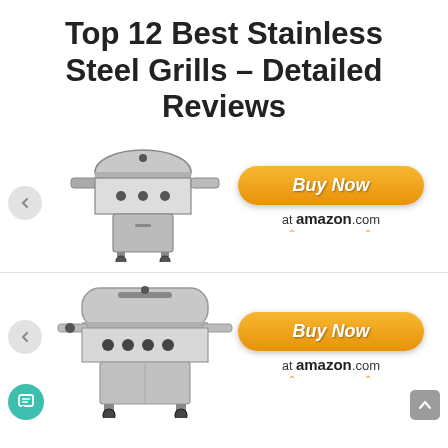Top 12 Best Stainless Steel Grills – Detailed Reviews
[Figure (photo): Stainless steel gas grill with side burner, black cabinet, on wheels]
[Figure (photo): Buy Now at amazon.com button - orange rounded rectangle with Amazon smile]
[Figure (photo): Stainless steel 4-burner gas grill with side shelves on wheels]
[Figure (photo): Buy Now at amazon.com button - orange rounded rectangle with Amazon smile]